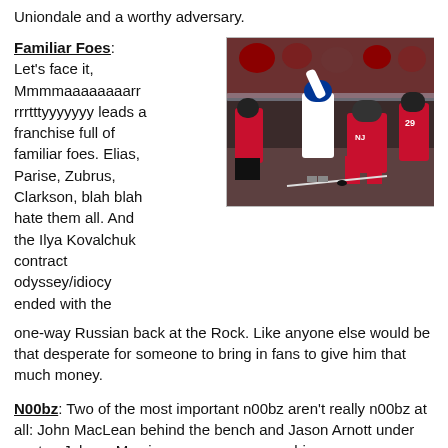Uniondale and a worthy adversary.
Familiar Foes
Let's face it, Mmmmaaaaaaaarrrrtttyyyyy leads a franchise full of familiar foes. Elias, Parise, Zubrus, Clarkson, blah blah hate them all. And the Ilya Kovalchuk contract odyssey/idiocy ended with the one-way Russian back at the Rock. Like anyone else would be that desperate for someone to bring in fans to give him that much money.
[Figure (photo): Hockey game action photo showing New Jersey Devils players in red jerseys and a New York Rangers player in white jersey near the Devils goal.]
N00bz: Two of the most important n00bz aren't really n00bz at all: John MacLean behind the bench and Jason Arnott under center. Johnny Mac is a company man so his